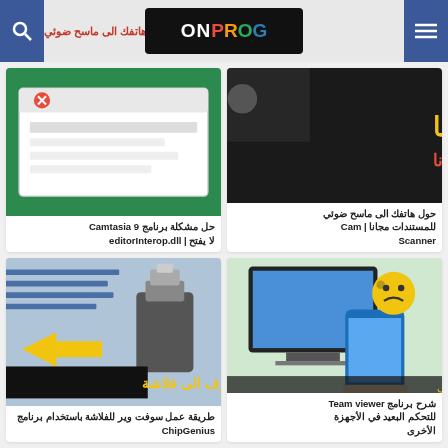ON PROG - header with search and menu buttons
[Figure (screenshot): Camtasia 9 error dialog screenshot with green background and error message box]
حل مشكلة برنامج Camtasia 9 لا يفتح | editorInterop.dll
[Figure (screenshot): Arabic text image showing phone scanner app promotion with yellow Arabic text on dark background]
حول هاتفك الى ماسح ضوئي للمستندات مجانا | Cam Scanner
[Figure (screenshot): USB drive software screenshot with Arabic text and yellow arrows pointing to flash drive illustration]
طريقة عمل سوفت وير للفلاشة باستخدام برنامج ChipGenius
[Figure (screenshot): Team Viewer remote desktop app screenshot showing phone and laptop with shocked emoji]
شرح برنامج Team viewer للتحكم البعيد في الأجهزة الأخرى